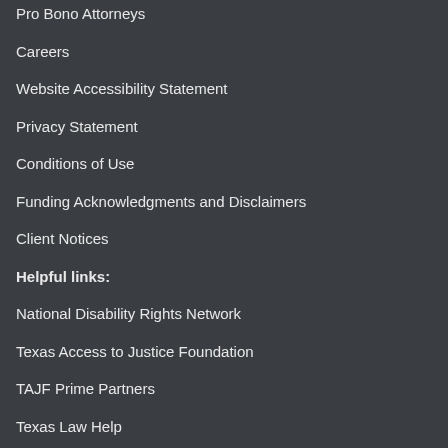Pro Bono Attorneys
Careers
Website Accessibility Statement
Privacy Statement
Conditions of Use
Funding Acknowledgments and Disclaimers
Client Notices
Helpful links:
National Disability Rights Network
Texas Access to Justice Foundation
TAJF Prime Partners
Texas Law Help
Texas Bar Foundation